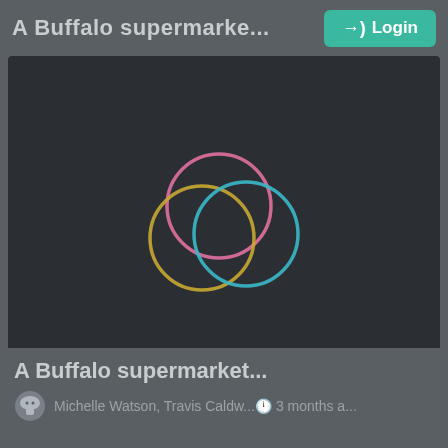A Buffalo supermarke... →) Login
[Figure (logo): Loading spinner graphic: three overlapping circles in pink, yellow/gold, and teal/blue on a dark background, forming an interlocked ring pattern.]
A Buffalo supermarket...
Michelle Watson, Travis Caldw... 🕐 3 months a...